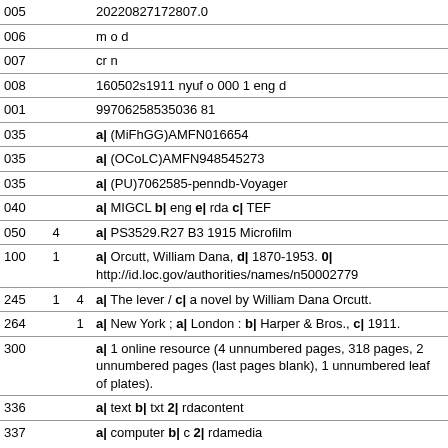| Tag | I1 | I2 | Data |
| --- | --- | --- | --- |
| 005 |  |  | 20220827172807.0 |
| 006 |  |  | m o d |
| 007 |  |  | cr n |
| 008 |  |  | 160502s1911 nyuf o 000 1 eng d |
| 001 |  |  | 99706258535036 81 |
| 035 |  |  | a| (MiFhGG)AMFN016654 |
| 035 |  |  | a| (OCoLC)AMFN948545273 |
| 035 |  |  | a| (PU)7062585-penndb-Voyager |
| 040 |  |  | a| MIGCL b| eng e| rda c| TEF |
| 050 | 4 |  | a| PS3529.R27 B3 1915 Microfilm |
| 100 | 1 |  | a| Orcutt, William Dana, d| 1870-1953. 0| http://id.loc.gov/authorities/names/n50002779 |
| 245 | 1 | 4 | a| The lever / c| a novel by William Dana Orcutt. |
| 264 |  | 1 | a| New York ; a| London : b| Harper & Bros., c| 1911. |
| 300 |  |  | a| 1 online resource (4 unnumbered pages, 318 pages, 2 unnumbered pages (last pages blank), 1 unnumbered leaf of plates). |
| 336 |  |  | a| text b| txt 2| rdacontent |
| 337 |  |  | a| computer b| c 2| rdamedia |